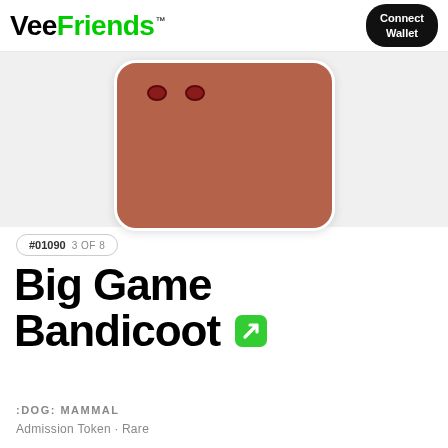VeeFriends™  Connect Wallet
[Figure (illustration): VeeFriends NFT card showing a brown/terracotta colored character (Big Game Bandicoot). The card has rounded corners with a white border, showing mainly a brown body fill with small dark eyes visible at the top.]
#01090  3 OF 8
Big Game Bandicoot
:DOG: MAMMAL
Admission Token · Rare